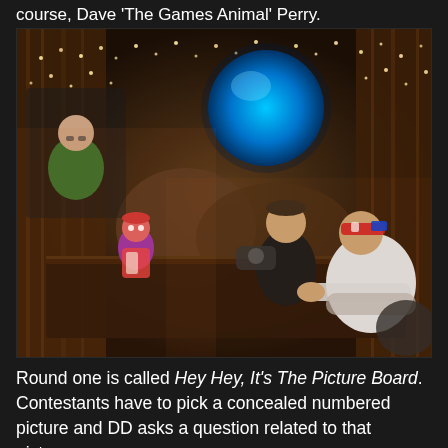course, Dave 'The Games Animal' Perry.
[Figure (photo): A dimly lit TV game show set scene. In the background upper-left, a person in a green jacket stands before a large blue glowing circular screen. In the center, a host in a black jacket sits at a rustic wooden table. On the right, a contestant wearing a red/blue/white headband and white long-sleeve shirt leans forward over the table. On the left side of the table is a colorful puppet figure. The set is decorated with strings of lights and brown/gold curtain draping.]
Round one is called Hey Hey, It's The Picture Board. Contestants have to pick a concealed numbered picture and DD asks a question related to that picture.